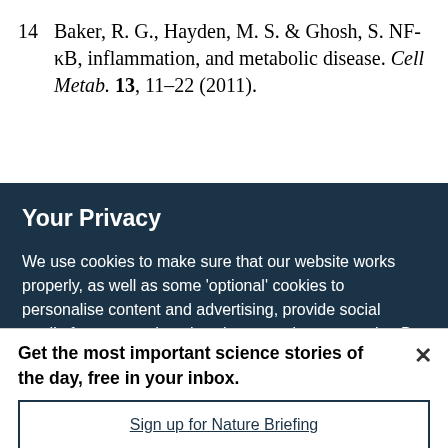14 Baker, R. G., Hayden, M. S. & Ghosh, S. NF-κB, inflammation, and metabolic disease. Cell Metab. 13, 11–22 (2011).
Your Privacy
We use cookies to make sure that our website works properly, as well as some 'optional' cookies to personalise content and advertising, provide social media features and analyse how people use our site. By accepting some or all optional cookies you give consent to the processing of your personal data, including transfer to third parties, some in countries outside of the European Economic Area that do not offer the same data protection standards as the country where you live. You can decide which optional cookies to accept by clicking on 'Manage Settings', where you can
Get the most important science stories of the day, free in your inbox.
Sign up for Nature Briefing